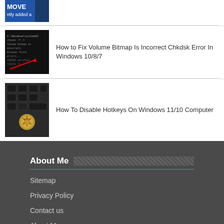[Figure (screenshot): Partially visible thumbnail showing MOVE text and blue background, cropped at top]
[Figure (screenshot): Command prompt / terminal screenshot with red arrow on dark background]
How to Fix Volume Bitmap Is Incorrect Chkdsk Error In Windows 10/8/7
[Figure (photo): Keyboard with gold ornamental key on dark keyboard surface]
How To Disable Hotkeys On Windows 11/10 Computer
About Me
Sitemap
Privacy Policy
Contact us
About Me